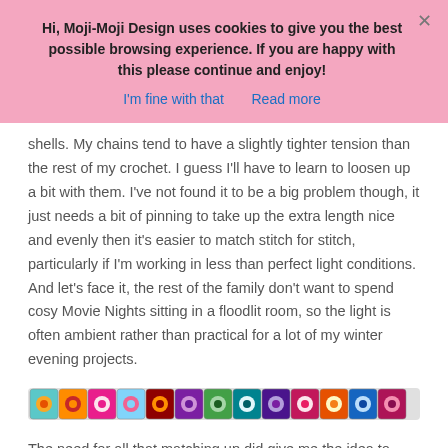Hi, Moji-Moji Design uses cookies to give you the best possible browsing experience. If you are happy with this please continue and enjoy!
I'm fine with that   Read more
shells. My chains tend to have a slightly tighter tension than the rest of my crochet. I guess I'll have to learn to loosen up a bit with them. I've not found it to be a big problem though, it just needs a bit of pinning to take up the extra length nice and evenly then it's easier to match stitch for stitch, particularly if I'm working in less than perfect light conditions. And let's face it, the rest of the family don't want to spend cosy Movie Nights sitting in a floodlit room, so the light is often ambient rather than practical for a lot of my winter evening projects.
[Figure (illustration): A horizontal strip of colorful crocheted granny squares in various colors including blue, orange, pink, green, purple arranged in a decorative border.]
The need for all that matching up did give me the idea to